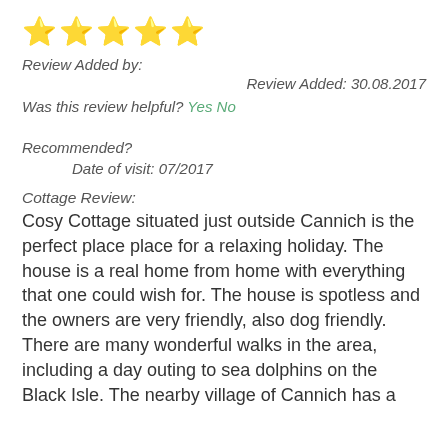[Figure (other): Five gold star rating icons]
Review Added by:
Review Added: 30.08.2017
Was this review helpful? Yes No
Recommended?
Date of visit: 07/2017
Cottage Review:
Cosy Cottage situated just outside Cannich is the perfect place place for a relaxing holiday. The house is a real home from home with everything that one could wish for. The house is spotless and the owners are very friendly, also dog friendly. There are many wonderful walks in the area, including a day outing to sea dolphins on the Black Isle. The nearby village of Cannich has a